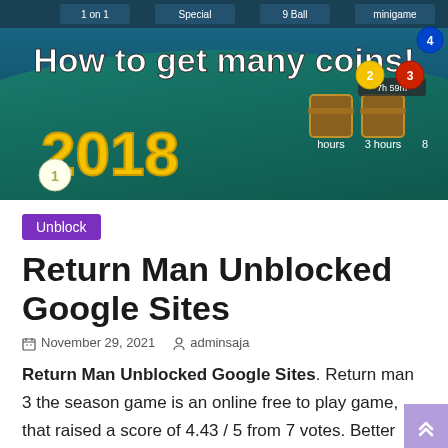[Figure (screenshot): Game screenshot showing '8 Ball Pool' game interface with text 'How to get many coins!' and '2018', with billiard balls and treasure chests visible]
Unblock
Return Man Unblocked Google Sites
November 29, 2021   adminsaja
Return Man Unblocked Google Sites. Return man 3 the season game is an online free to play game, that raised a score of 4.43 / 5 from 7 votes. Better graphic effects and some special movements offered will definitely suit your expectation of a cool and exciting performance.